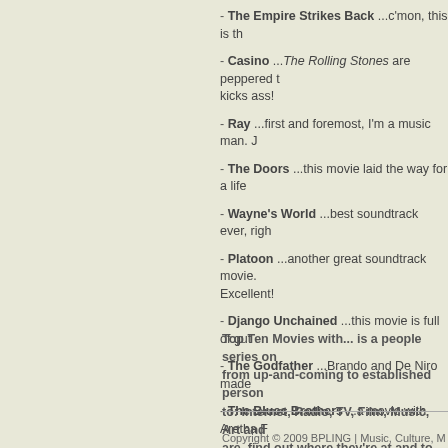- The Empire Strikes Back ...c'mon, this is th
- Casino ...The Rolling Stones are peppered t kicks ass!
- Ray ...first and foremost, I'm a music man. J
- The Doors ...this movie laid the way for a life
- Wayne's World ...best soundtrack ever, righ
- Platoon ...another great soundtrack movie. Excellent!
- Django Unchained ...this movie is full of gut
- The Godfather ...Brando and De Niro made
- The Blues Brothers ...a movie with Aretha F
Top Ten Movies with... is a people series on from up-and-coming to established person to: Internet, Radio, TV, Film, Music, Art and are, find out where they're at and to get a fu
Copyright © 2009 BPLING | Music, Culture, M